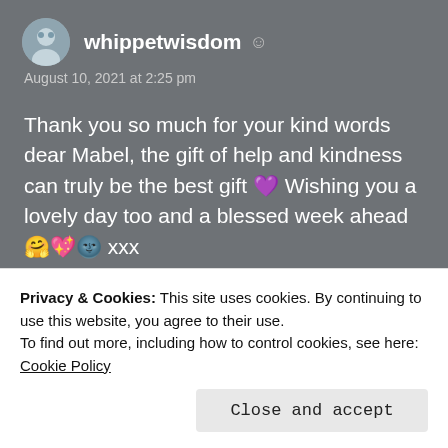whippetwisdom
August 10, 2021 at 2:25 pm
Thank you so much for your kind words dear Mabel, the gift of help and kindness can truly be the best gift 💜 Wishing you a lovely day too and a blessed week ahead 🤗💕🌀 xxx
Liked by 2 people
Log in to Reply
Privacy & Cookies: This site uses cookies. By continuing to use this website, you agree to their use.
To find out more, including how to control cookies, see here: Cookie Policy
Close and accept